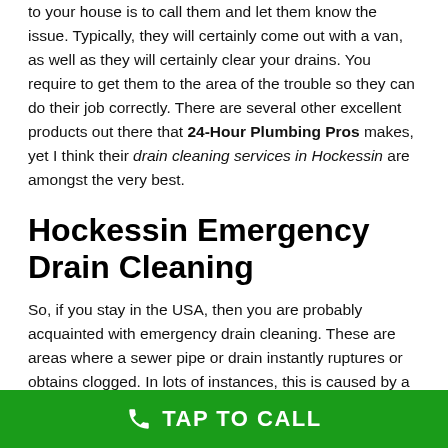to your house is to call them and let them know the issue. Typically, they will certainly come out with a van, as well as they will certainly clear your drains. You require to get them to the area of the trouble so they can do their job correctly. There are several other excellent products out there that 24-Hour Plumbing Pros makes, yet I think their drain cleaning services in Hockessin are amongst the very best.
Hockessin Emergency Drain Cleaning
So, if you stay in the USA, then you are probably acquainted with emergency drain cleaning. These are areas where a sewer pipe or drain instantly ruptures or obtains clogged. In lots of instances, this is caused by a damaged pipe or a partly obstructed pipe. When this occurs, there is no caution or signal given. Consequently it
TAP TO CALL